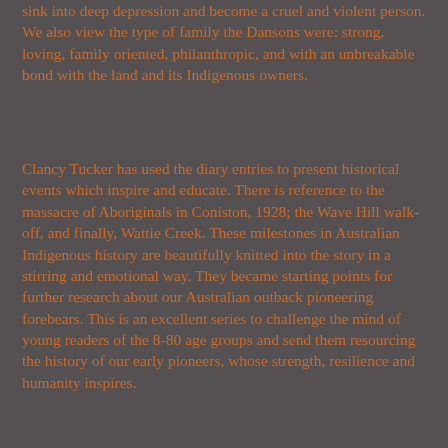sink into deep depression and become a cruel and violent person. We also view the type of family the Dansons were: strong, loving, family oriented, philanthropic, and with an unbreakable bond with the land and its Indigenous owners.
Clancy Tucker has used the diary entries to present historical events which inspire and educate. There is reference to the massacre of Aboriginals in Coniston, 1928; the Wave Hill walk-off, and finally, Wattie Creek. These milestones in Australian Indigenous history are beautifully knitted into the story in a stirring and emotional way. They became starting points for further research about our Australian outback pioneering forebears. This is an excellent series to challenge the mind of young readers of the 8-80 age groups and send them resourcing the history of our early pioneers, whose strength, resilience and humanity inspires.